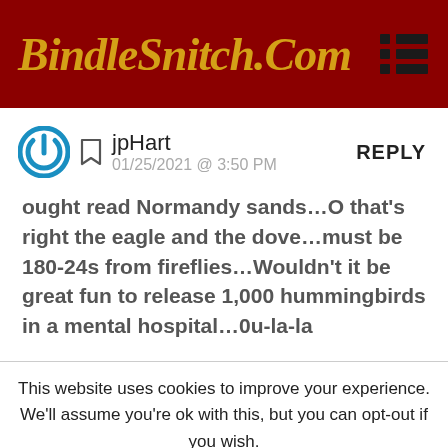BindleSnitch.Com
jpHart
01/25/2021 @ 3:50 PM
REPLY
ought read Normandy sands…O that's right the eagle and the dove…must be 180-24s from fireflies…Wouldn't it be great fun to release 1,000 hummingbirds in a mental hospital…0u-la-la
This website uses cookies to improve your experience. We'll assume you're ok with this, but you can opt-out if you wish.
Accept  Reject  Read More